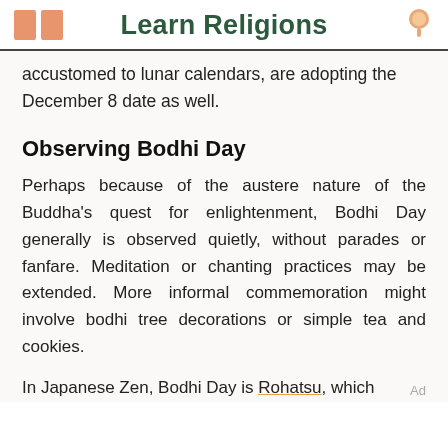Learn Religions
accustomed to lunar calendars, are adopting the December 8 date as well.
Observing Bodhi Day
Perhaps because of the austere nature of the Buddha's quest for enlightenment, Bodhi Day generally is observed quietly, without parades or fanfare. Meditation or chanting practices may be extended. More informal commemoration might involve bodhi tree decorations or simple tea and cookies.
In Japanese Zen, Bodhi Day is Rohatsu, which